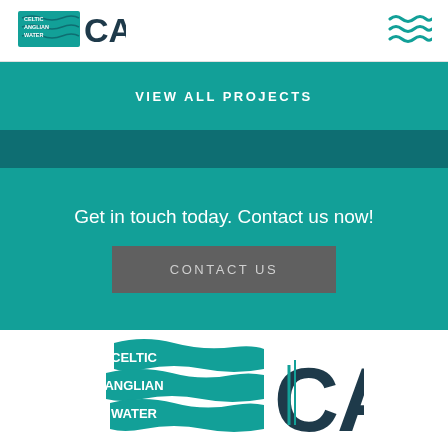[Figure (logo): Celtic Anglian Water (CAW) logo - small version in top-left header]
[Figure (logo): Wave/menu icon in top-right header]
VIEW ALL PROJECTS
Get in touch today. Contact us now!
CONTACT US
[Figure (logo): Celtic Anglian Water (CAW) large logo in footer area]